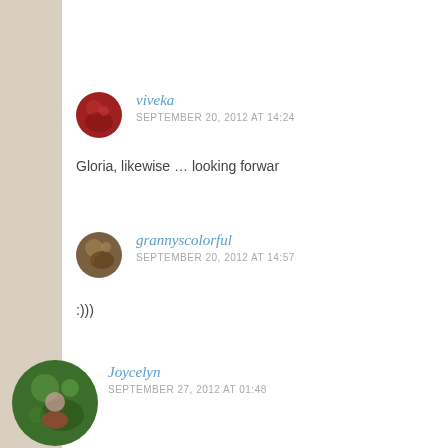viveka
SEPTEMBER 20, 2012 AT 14:24
Gloria, likewise … looking forwar
grannyscolorful
SEPTEMBER 20, 2012 AT 14:57
:)))
Joycelyn
SEPTEMBER 27, 2012 AT 01:48